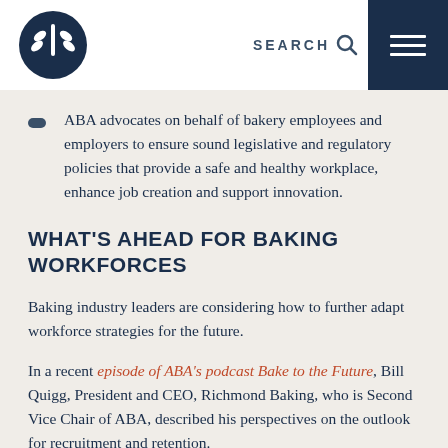SEARCH [menu]
ABA advocates on behalf of bakery employees and employers to ensure sound legislative and regulatory policies that provide a safe and healthy workplace, enhance job creation and support innovation.
WHAT'S AHEAD FOR BAKING WORKFORCES
Baking industry leaders are considering how to further adapt workforce strategies for the future.
In a recent episode of ABA's podcast Bake to the Future, Bill Quigg, President and CEO, Richmond Baking, who is Second Vice Chair of ABA, described his perspectives on the outlook for recruitment and retention.
“We need to think out of the box with hiring, scheduling and what attracts people to jobs,” he said. “We are focusing on